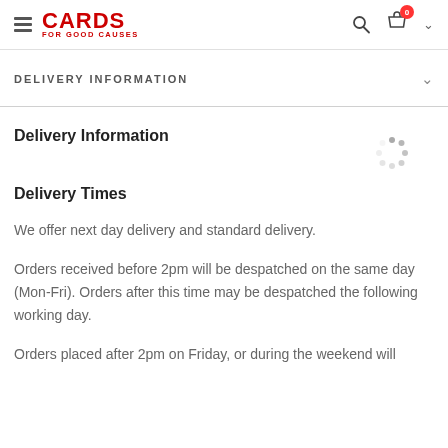CARDS FOR GOOD CAUSES
DELIVERY INFORMATION
Delivery Information
[Figure (other): Loading spinner animation dots in a circular pattern]
Delivery Times
We offer next day delivery and standard delivery.
Orders received before 2pm will be despatched on the same day (Mon-Fri). Orders after this time may be despatched the following working day.
Orders placed after 2pm on Friday, or during the weekend will